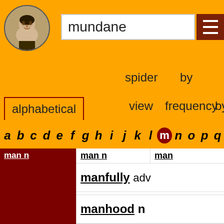[Figure (screenshot): Shakespeare portrait circular thumbnail]
mundane
alphabetical
spider view
by frequency
by
a b c d e f g h i j k l m n o p q
man n
man
manfully adv
manhood n